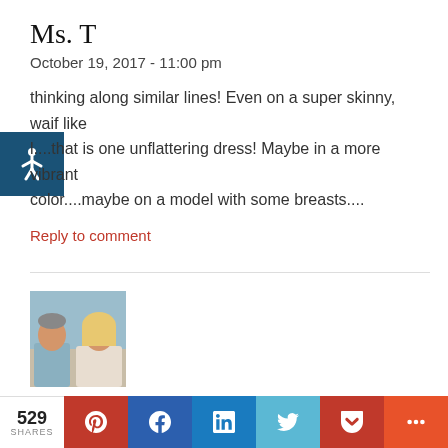Ms. T
October 19, 2017 - 11:00 pm
...thinking along similar lines! Even on a super skinny, waif like [model]....that is one unflattering dress! Maybe in a more vibrant color....maybe on a model with some breasts....
Reply to comment
[Figure (photo): Photo of a man and woman couple, outdoor background]
Denise
529 SHARES | Pinterest | Facebook | LinkedIn | Twitter | Pocket | More